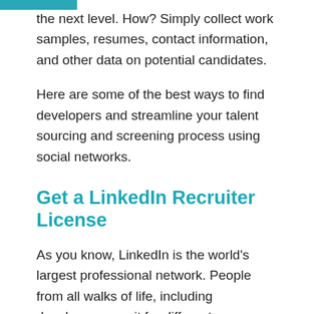the next level. How? Simply collect work samples, resumes, contact information, and other data on potential candidates.
Here are some of the best ways to find developers and streamline your talent sourcing and screening process using social networks.
Get a LinkedIn Recruiter License
As you know, LinkedIn is the world's largest professional network. People from all walks of life, including developers, use it for different professional goals. They showcase accomplishments, share their career history,